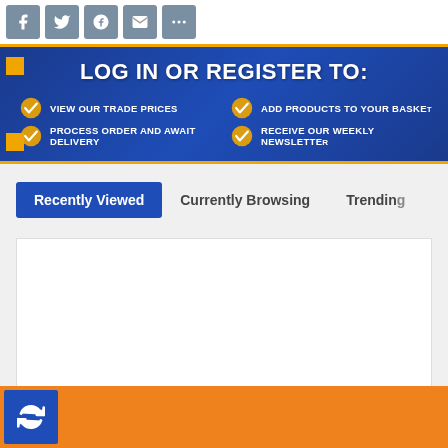[Figure (screenshot): Social sharing icons: Facebook, Twitter, Pinterest, Email, More]
[Figure (infographic): Blue banner with gold border: LOG IN OR REGISTER TO: with four checkmark features: VIEW OUR TRADE PRICES, ADD PRODUCTS TO YOUR BASKET, PROCESS ORDER AND AWAIT DELIVERY, RECEIVE OUR WEEKLY NEWSLETTER]
Recently Viewed | Currently Browsing | Trending
[Figure (screenshot): White content area box, empty]
[Figure (screenshot): Orange bar with blue refresh/reload icon button]